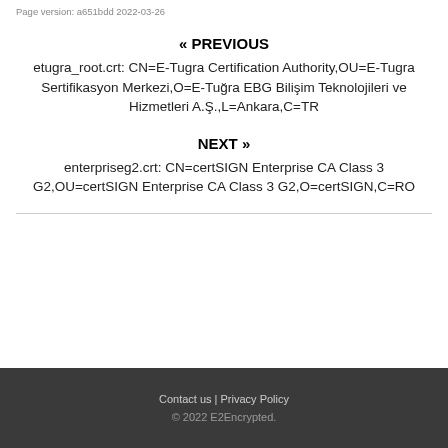Page version: a651bdd 2022-03-26
« PREVIOUS
etugra_root.crt: CN=E-Tugra Certification Authority,OU=E-Tugra Sertifikasyon Merkezi,O=E-Tuğra EBG Bilişim Teknolojileri ve Hizmetleri A.Ş.,L=Ankara,C=TR
NEXT »
enterpriseg2.crt: CN=certSIGN Enterprise CA Class 3 G2,OU=certSIGN Enterprise CA Class 3 G2,O=certSIGN,C=RO
Contact us | Privacy Policy © 2022 E2Encrypted.